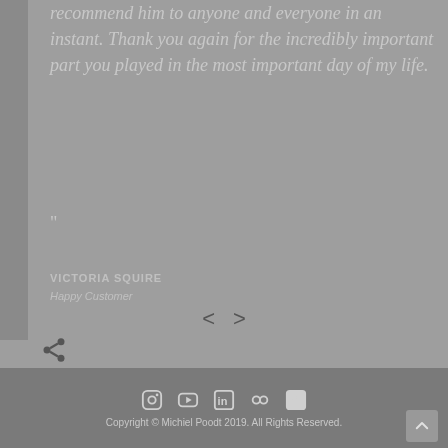recommend him to anyone and everyone in an instant. Thank you again for the incredibly important part you played in the most important day of my life. "
VICTORIA SQUIRE
Happy Customer
[Figure (other): Navigation arrows < and > for testimonial slider]
[Figure (other): Share icon]
Social media icons: Instagram, YouTube, LinkedIn, Flickr, Facebook
Copyright © Michiel Poodt 2019. All Rights Reserved.